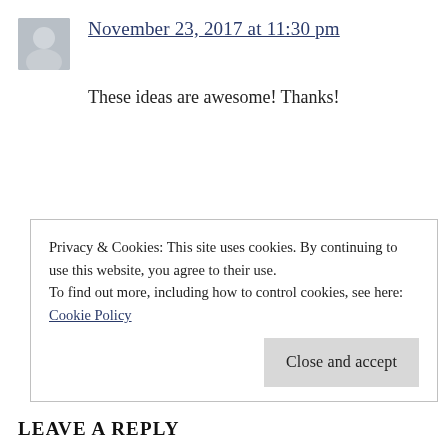[Figure (photo): Small circular/square avatar photo of a person, approximately 52x52px]
November 23, 2017 at 11:30 pm
These ideas are awesome! Thanks!
Privacy & Cookies: This site uses cookies. By continuing to use this website, you agree to their use.
To find out more, including how to control cookies, see here: Cookie Policy
Close and accept
LEAVE A REPLY